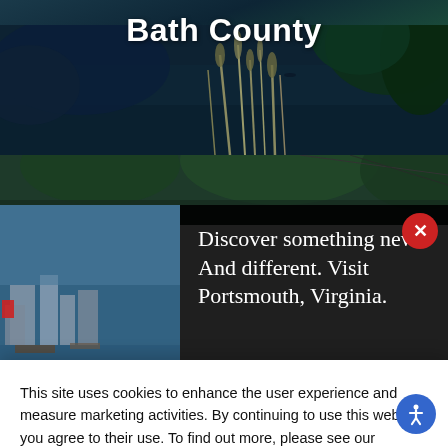Bath County
[Figure (photo): Scenic outdoor landscape with reeds/grasses against a dark stormy sky and water in background, serving as hero banner image for Bath County government website]
[Figure (photo): Advertisement banner showing a waterfront city scene with dark overlay text: 'Discover something new. And different. Visit Portsmouth, Virginia.' with a close button]
This site uses cookies to enhance the user experience and measure marketing activities. By continuing to use this website, you agree to their use. To find out more, please see our Privacy Policy.
ACCEPT
Cities & Towns